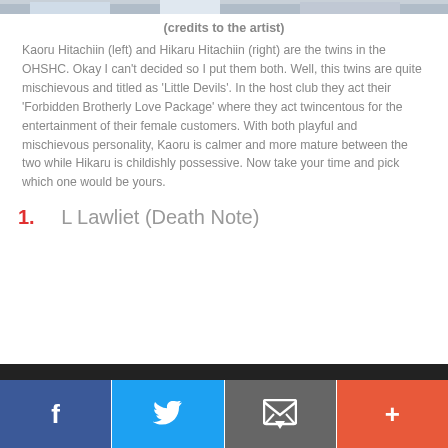[Figure (illustration): Top strip showing partial anime illustration of twin characters]
(credits to the artist)
Kaoru Hitachiin (left) and Hikaru Hitachiin (right) are the twins in the OHSHC. Okay I can't decided so I put them both. Well, this twins are quite mischievous and titled as 'Little Devils'. In the host club they act their 'Forbidden Brotherly Love Package' where they act twincentous for the entertainment of their female customers. With both playful and mischievous personality, Kaoru is calmer and more mature between the two while Hikaru is childishly possessive. Now take your time and pick which one would be yours.
1.  L Lawliet (Death Note)
[Figure (photo): Bottom dark image strip]
Social share bar with Facebook, Twitter, Email, and Plus buttons